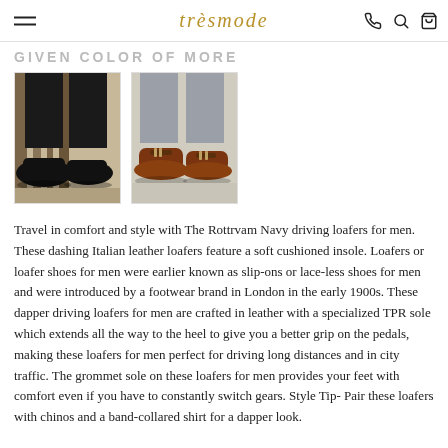trèsmode
GIVEN COLOR OF MORE
[Figure (photo): Two product photos of men's driving loafers side by side. Left: black leather loafers worn with dark trousers on a wooden background. Right: brown leather driving loafers with bit detail worn with grey trousers on a carpet background.]
Travel in comfort and style with The Rottrvam Navy driving loafers for men. These dashing Italian leather loafers feature a soft cushioned insole. Loafers or loafer shoes for men were earlier known as slip-ons or lace-less shoes for men and were introduced by a footwear brand in London in the early 1900s. These dapper driving loafers for men are crafted in leather with a specialized TPR sole which extends all the way to the heel to give you a better grip on the pedals, making these loafers for men perfect for driving long distances and in city traffic. The grommet sole on these loafers for men provides your feet with comfort even if you have to constantly switch gears. Style Tip- Pair these loafers with chinos and a band-collared shirt for a dapper look.